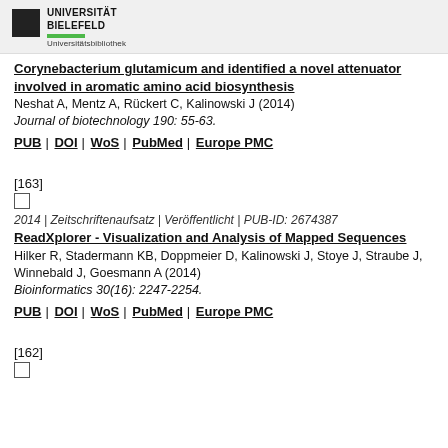UNIVERSITÄT BIELEFELD Universitätsbibliothek
Corynebacterium glutamicum and identified a novel attenuator involved in aromatic amino acid biosynthesis
Neshat A, Mentz A, Rückert C, Kalinowski J (2014)
Journal of biotechnology 190: 55-63.
PUB | DOI | WoS | PubMed | Europe PMC
[163]
☐
2014 | Zeitschriftenaufsatz | Veröffentlicht | PUB-ID: 2674387
ReadXplorer - Visualization and Analysis of Mapped Sequences
Hilker R, Stadermann KB, Doppmeier D, Kalinowski J, Stoye J, Straube J, Winnebald J, Goesmann A (2014)
Bioinformatics 30(16): 2247-2254.
PUB | DOI | WoS | PubMed | Europe PMC
[162]
☐